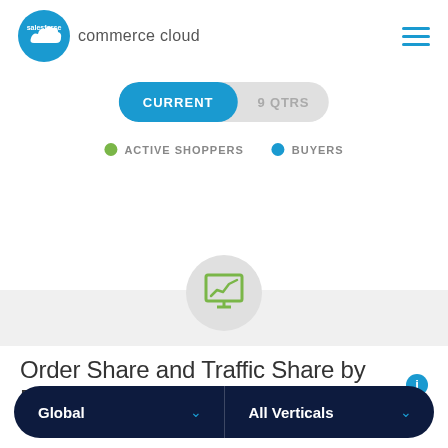[Figure (logo): Salesforce Commerce Cloud logo with cloud icon and text]
[Figure (infographic): Toggle pill selector with CURRENT (active, blue) and 9 QTRS (inactive, gray) options]
ACTIVE SHOPPERS    BUYERS
[Figure (illustration): Monitor icon with rising line chart, shown in a light gray circle, over a light gray background section]
Order Share and Traffic Share by Device
[Figure (infographic): Dark navy pill-shaped bottom bar with two dropdown selectors: Global and All Verticals]